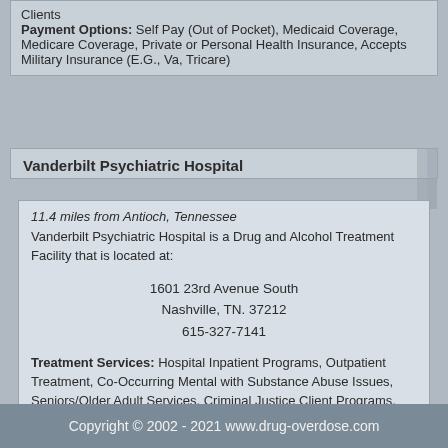Clients
Payment Options: Self Pay (Out of Pocket), Medicaid Coverage, Medicare Coverage, Private or Personal Health Insurance, Accepts Military Insurance (E.G., Va, Tricare)
Vanderbilt Psychiatric Hospital
11.4 miles from Antioch, Tennessee
Vanderbilt Psychiatric Hospital is a Drug and Alcohol Treatment Facility that is located at:

1601 23rd Avenue South
Nashville, TN. 37212
615-327-7141

Treatment Services: Hospital Inpatient Programs, Outpatient Treatment, Co-Occurring Mental with Substance Abuse Issues, Seniors/Older Adult Services, Criminal Justice Client Programs, Specialized in Hearing Impaired Clients, Spanish Services, Other Language Programs
Payment Options: Self Pay (Out of Pocket), Medicaid Coverage, Medicare Coverage, State Financed Insurance besides Medicaid, Private or Personal Health Insurance, Accepts Military Insurance (E.G., Va, Tricare)
Copyright © 2002 - 2021 www.drug-overdose.com